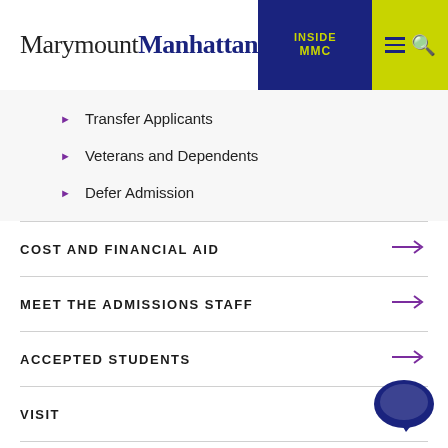MarymountManhattan — INSIDE MMC
Transfer Applicants
Veterans and Dependents
Defer Admission
COST AND FINANCIAL AID
MEET THE ADMISSIONS STAFF
ACCEPTED STUDENTS
VISIT
[Figure (other): Chat bubble icon at bottom right]